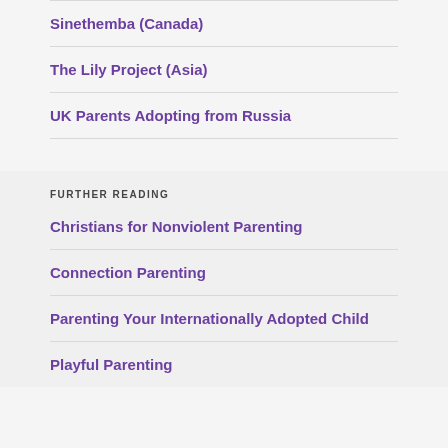Sinethemba (Canada)
The Lily Project (Asia)
UK Parents Adopting from Russia
FURTHER READING
Christians for Nonviolent Parenting
Connection Parenting
Parenting Your Internationally Adopted Child
Playful Parenting